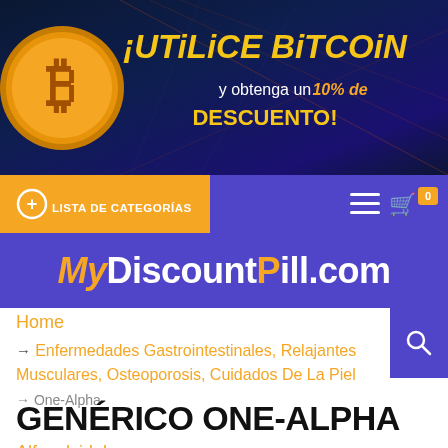[Figure (screenshot): Bitcoin promotional banner with dark blue gradient background, orange/yellow text reading '¡UTILICE BITCOIN y obtenga un 10% de DESCUENTO!' with a gold Bitcoin coin on the left]
[Figure (screenshot): Orange navigation bar with '+ LISTA DE CATEGORÍAS' on the left and purple section with hamburger menu and shopping cart icon with 0 badge on the right]
MyDiscountPill.com
Home
→ Enfermedades Gastrointestinales, Relajantes Musculares, Osteoporosis, Cuidados De La Piel
→ One-Alpha
GENÉRICO ONE-ALPHA
Alfacalcidol